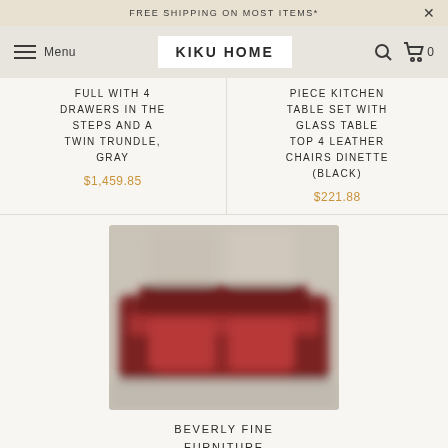FREE SHIPPING ON MOST ITEMS*
KIKU HOME
FULL WITH 4 DRAWERS IN THE STEPS AND A TWIN TRUNDLE, GRAY
$1,459.85
PIECE KITCHEN TABLE SET WITH GLASS TABLE TOP 4 LEATHER CHAIRS DINETTE (BLACK)
$221.88
[Figure (photo): Blurred image of a red/burgundy microfiber sectional sofa with faux leather accents]
BEVERLY FINE FURNITURE ANDES MICROFIBER WITH FAUX